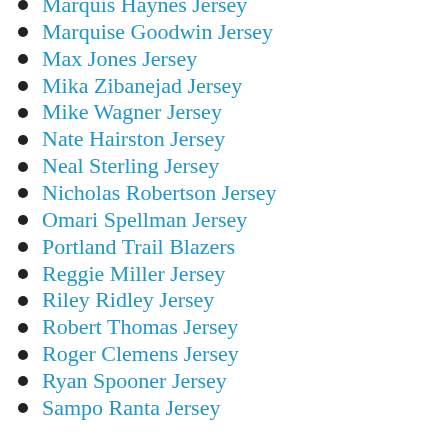Marquis Haynes Jersey
Marquise Goodwin Jersey
Max Jones Jersey
Mika Zibanejad Jersey
Mike Wagner Jersey
Nate Hairston Jersey
Neal Sterling Jersey
Nicholas Robertson Jersey
Omari Spellman Jersey
Portland Trail Blazers
Reggie Miller Jersey
Riley Ridley Jersey
Robert Thomas Jersey
Roger Clemens Jersey
Ryan Spooner Jersey
Sampo Ranta Jersey